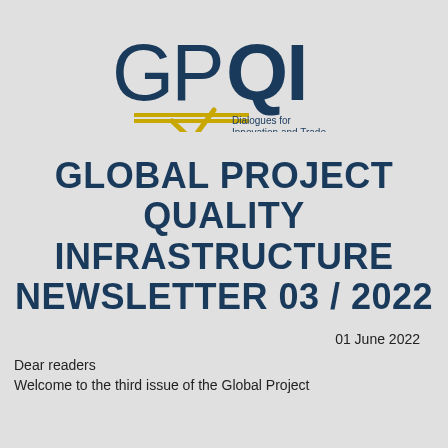[Figure (logo): GPQI logo with tagline 'Dialogues for Innovation and Trade'. GP in light weight and QI in bold, dark navy. Yellow speech bubble/chevron graphic below the text.]
GLOBAL PROJECT QUALITY INFRASTRUCTURE NEWSLETTER 03 / 2022
01 June 2022
Dear readers
Welcome to the third issue of the Global Project